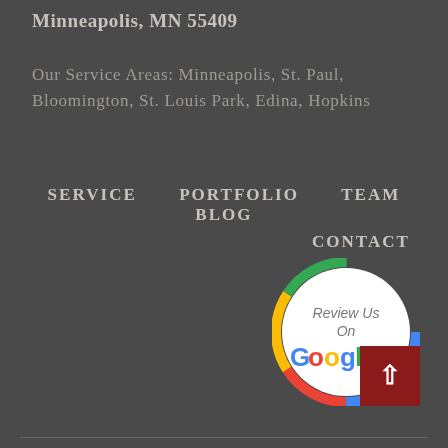Minneapolis, MN 55409
Our Service Areas: Minneapolis, St. Paul, Bloomington, St. Louis Park, Edina, Hopkins
SERVICE   PORTFOLIO   TEAM   BLOG
CONTACT
[Figure (logo): Google review badge circle with multicolor ring (blue, red, yellow, green) containing text 'Review Us On Google' in Google brand colors, with a dark red back-to-top arrow button overlapping the bottom right]